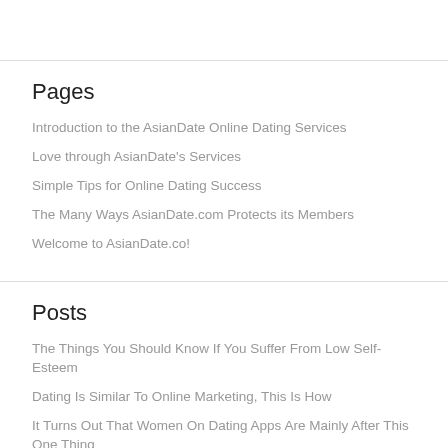Pages
Introduction to the AsianDate Online Dating Services
Love through AsianDate's Services
Simple Tips for Online Dating Success
The Many Ways AsianDate.com Protects its Members
Welcome to AsianDate.co!
Posts
The Things You Should Know If You Suffer From Low Self-Esteem
Dating Is Similar To Online Marketing, This Is How
It Turns Out That Women On Dating Apps Are Mainly After This One Thing